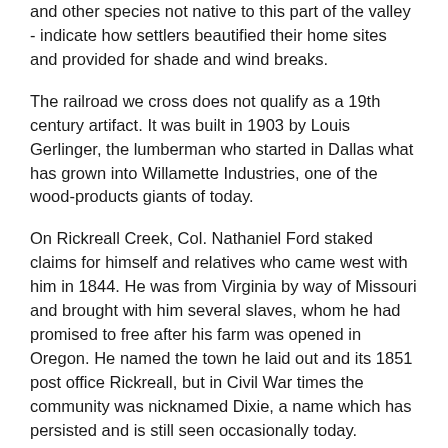and other species not native to this part of the valley - indicate how settlers beautified their home sites and provided for shade and wind breaks.
The railroad we cross does not qualify as a 19th century artifact. It was built in 1903 by Louis Gerlinger, the lumberman who started in Dallas what has grown into Willamette Industries, one of the wood-products giants of today.
On Rickreall Creek, Col. Nathaniel Ford staked claims for himself and relatives who came west with him in 1844. He was from Virginia by way of Missouri and brought with him several slaves, whom he had promised to free after his farm was opened in Oregon. He named the town he laid out and its 1851 post office Rickreall, but in Civil War times the community was nicknamed Dixie, a name which has persisted and is still seen occasionally today.
Ford's DLC lay on both sides of Rickreall Creek west of 99W. The claim of his sister and brother-in-law, David Goff, lay east of the highway. The Burch house built by other Ford relatives can be seen two blocks west of the first intersection in Rickreall. The Nesmith house, much